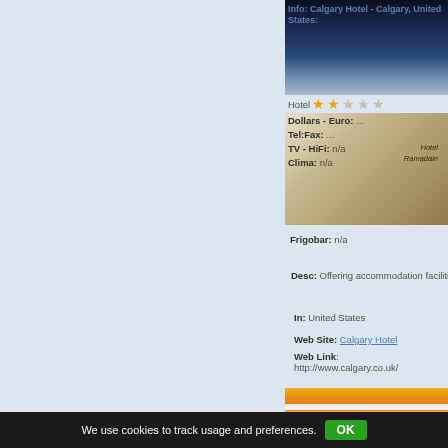[Figure (photo): Hotel building at night with water reflections, blue tones]
Info: Calgary Hotel - Calgary, United States:
Hotel ★★☆☆☆
[Figure (photo): Hotel Ramadain building exterior, daytime]
Dollars - Euro: ...
Tel:Fax: ...
TV - HiFi: n/a
Clima: n/a
Frigobar: n/a
Desc: Offering accommodation facilities, gallery and restaurant n
In: United States
Web Site: Calgary Hotel
Web Link: http://www.calgary.co.uk/
Calgary Hotel - 5 Five Calgary Downtown
[Figure (photo): Hotel at night with illuminated buildings and blue sky]
Info: Calgary Hotel - 5 Five Calgary Downtown, United States:
Hotel ★☆☆☆☆
[Figure (photo): Modern building exterior at dusk]
We use cookies to track usage and preferences. OK